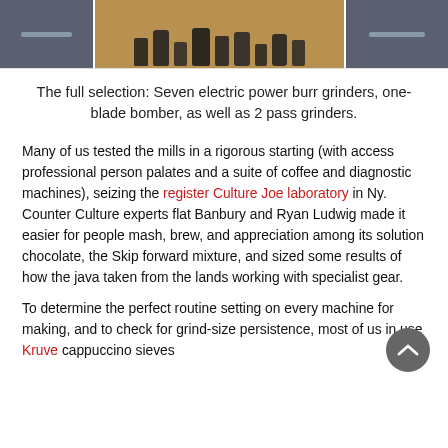[Figure (photo): A photo strip showing kitchen cabinet drawers. The left and right panels show dark grey/navy cabinet drawers with metal handles. The center panel shows an open drawer filled with multiple dark coffee bags and various items.]
The full selection: Seven electric power burr grinders, one-blade bomber, as well as 2 pass grinders.
Many of us tested the mills in a rigorous starting (with access professional person palates and a suite of coffee and diagnostic machines), seizing the register Culture Joe laboratory in Ny. Counter Culture experts flat Banbury and Ryan Ludwig made it easier for people mash, brew, and appreciation among its solution chocolate, the Skip forward mixture, and sized some results of how the java taken from the lands working with specialist gear.
To determine the perfect routine setting on every machine for making, and to check for grind-size persistence, most of us in use Kruve cappuccino sieves